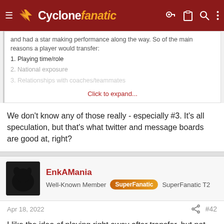Cyclone fanatic
and had a star making performance along the way. So of the main reasons a player would transfer:
1. Playing time/role
2. National exposure
3. Relationships with coaches/teammates
Click to expand...
We don't know any of those really - especially #3. It's all speculation, but that's what twitter and message boards are good at, right?
EnkAMania
Well-Known Member  SuperFanatic  SuperFanatic T2
Apr 18, 2022  #42
I like the idea of playing right away after transfer, but not getting paid for a year. Of course, probably no way to police that.